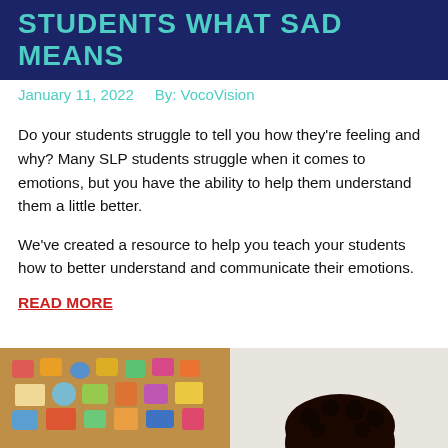STUDENTS WHAT SAD MEANS
January 11, 2022    By: VocoVision
Do your students struggle to tell you how they're feeling and why? Many SLP students struggle when it comes to emotions, but you have the ability to help them understand them a little better.

We've created a resource to help you teach your students how to better understand and communicate their emotions.
READ MORE
[Figure (photo): A classroom photo showing a cork board with colorful shapes and letters, and a child with curly dark hair in the foreground]